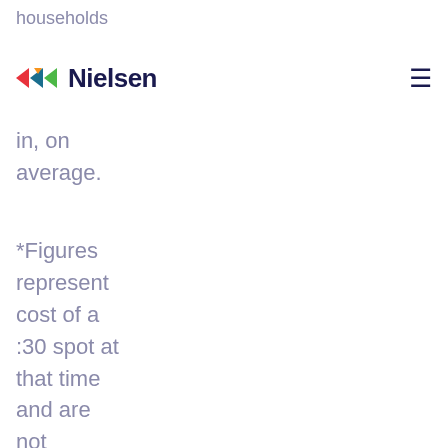households
Nielsen (logo with hamburger menu)
in, on average.
*Figures represent cost of a :30 spot at that time and are not adjusted for inflation.